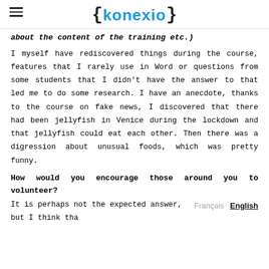{konexio}
about the content of the training etc.)
I myself have rediscovered things during the course, features that I rarely use in Word or questions from some students that I didn't have the answer to that led me to do some research. I have an anecdote, thanks to the course on fake news, I discovered that there had been jellyfish in Venice during the lockdown and that jellyfish could eat each other. Then there was a digression about unusual foods, which was pretty funny.
How would you encourage those around you to volunteer?
It is perhaps not the expected answer, but I think tha